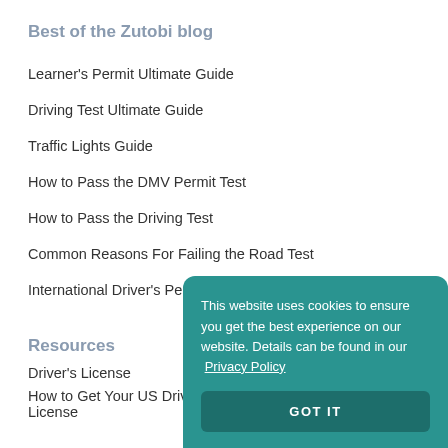Best of the Zutobi blog
Learner's Permit Ultimate Guide
Driving Test Ultimate Guide
Traffic Lights Guide
How to Pass the DMV Permit Test
How to Pass the Driving Test
Common Reasons For Failing the Road Test
International Driver's Permit Guide
Resources
Driver's License
How to Get Your US Driver's License
This website uses cookies to ensure you get the best experience on our website. Details can be found in our Privacy Policy
GOT IT